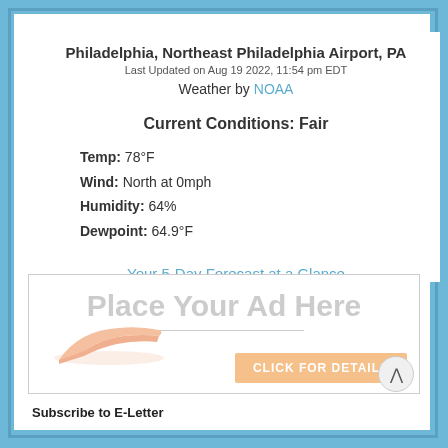Philadelphia, Northeast Philadelphia Airport, PA
Last Updated on Aug 19 2022, 11:54 pm EDT
Weather by NOAA
Current Conditions: Fair
Temp: 78°F
Wind: North at 0mph
Humidity: 64%
Dewpoint: 64.9°F
Your 5-Day Forecast at a Glance
[Figure (infographic): Advertisement placeholder: 'Place Your Ad Here' with hand graphic and 'CLICK FOR DETAILS' orange button]
Subscribe to E-Letter